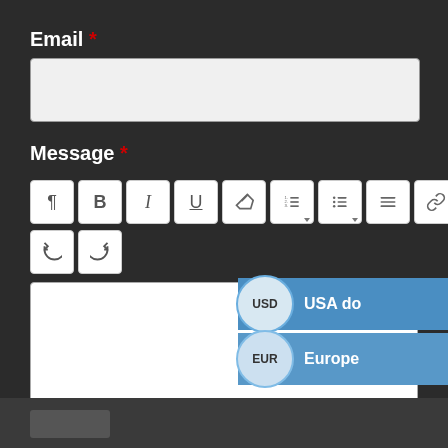Email *
[Figure (screenshot): Empty email input field]
Message *
[Figure (screenshot): Rich text editor toolbar with paragraph, bold, italic, underline, erase, ordered list, unordered list, align, link, unlink, and other buttons, plus undo/redo]
[Figure (screenshot): Empty message textarea with resize handle]
[Figure (infographic): Currency dropdown overlay showing USD (USA dollar) and EUR (European...) options with circular badges]